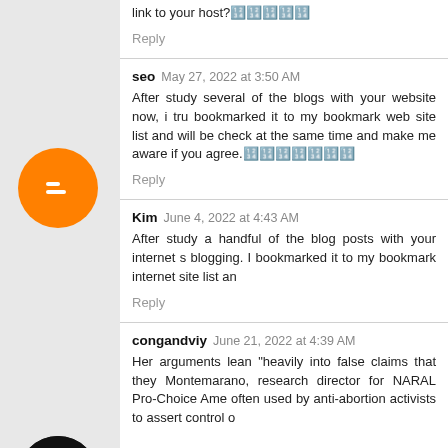link to your host?🔢🔢🔢🔢🔢
Reply
[Figure (logo): Orange Blogger icon circle]
seo May 27, 2022 at 3:50 AM
After study several of the blogs with your website now, i tru bookmarked it to my bookmark web site list and will be check at the same time and make me aware if you agree.🔢🔢🔢🔢🔢🔢🔢
Reply
[Figure (logo): Amazon icon black circle]
[Figure (logo): RSS feed icon blue circle]
[Figure (photo): Partial photo of a person]
[Figure (logo): Facebook icon blue circle]
[Figure (logo): Goodreads gr icon circle]
Kim June 4, 2022 at 4:43 AM
After study a handful of the blog posts with your internet s blogging. I bookmarked it to my bookmark internet site list an
Reply
[Figure (logo): Email/envelope icon orange circle]
congandviy June 21, 2022 at 4:39 AM
Her arguments lean "heavily into false claims that they Montemarano, research director for NARAL Pro-Choice Ame often used by anti-abortion activists to assert control o